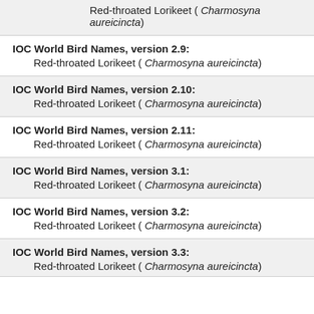Red-throated Lorikeet ( Charmosyna aureicincta)
IOC World Bird Names, version 2.9:
Red-throated Lorikeet ( Charmosyna aureicincta)
IOC World Bird Names, version 2.10:
Red-throated Lorikeet ( Charmosyna aureicincta)
IOC World Bird Names, version 2.11:
Red-throated Lorikeet ( Charmosyna aureicincta)
IOC World Bird Names, version 3.1:
Red-throated Lorikeet ( Charmosyna aureicincta)
IOC World Bird Names, version 3.2:
Red-throated Lorikeet ( Charmosyna aureicincta)
IOC World Bird Names, version 3.3:
Red-throated Lorikeet ( Charmosyna aureicincta)